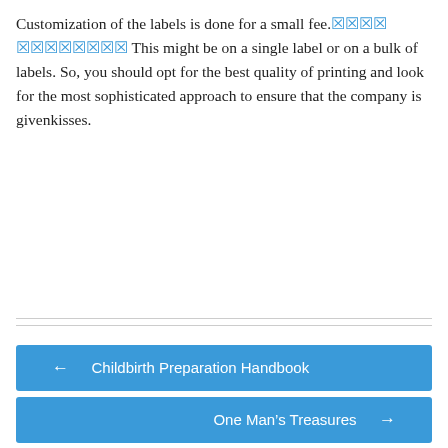Customization of the labels is done for a small fee.☒☒☒☒ ☒☒☒☒☒☒☒☒ This might be on a single label or on a bulk of labels. So, you should opt for the best quality of printing and look for the most sophisticated approach to ensure that the company is givenkisses.
← Childbirth Preparation Handbook
One Man’s Treasures →
☒☒☒☒☒☒☒☒☒☒☒
☒☒☒☒☒☒☒☒☒☒☒
☒☒☒☒☒☒☒☒☒☒☒☒☒